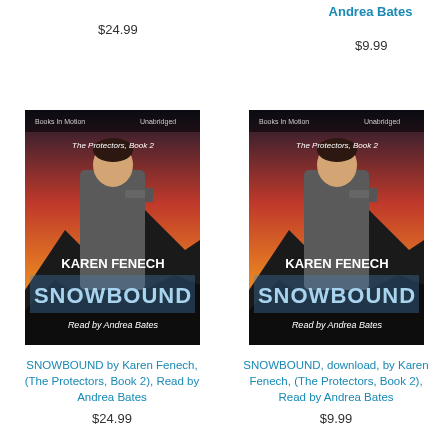$24.99
Andrea Bates
$9.99
[Figure (photo): Book cover: SNOWBOUND by Karen Fenech, The Protectors Book 2, Read by Andrea Bates. Shows a man holding a gun against a sunset background with mountains.]
SNOWBOUND by Karen Fenech, (The Protectors, Book 2), Read by Andrea Bates
$24.99
[Figure (photo): Book cover: SNOWBOUND by Karen Fenech, The Protectors Book 2, Read by Andrea Bates. Shows a man holding a gun against a sunset background with mountains. Download version.]
SNOWBOUND, download, by Karen Fenech, (The Protectors, Book 2), Read by Andrea Bates
$9.99